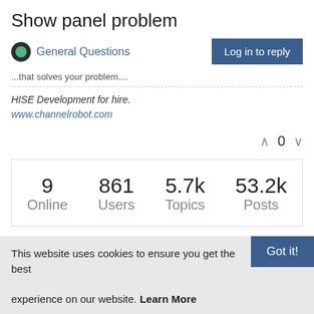Show panel problem
General Questions
...that solves your problem....
HISE Development for hire.
www.channelrobot.com
^ 0 v
| Online | Users | Topics | Posts |
| --- | --- | --- | --- |
| 9 | 861 | 5.7k | 53.2k |
This website uses cookies to ensure you get the best experience on our website. Learn More